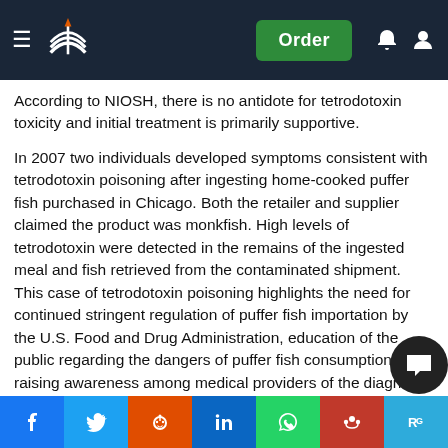Navigation bar with logo, Order button, bell and user icons
According to NIOSH, there is no antidote for tetrodotoxin toxicity and initial treatment is primarily supportive.
In 2007 two individuals developed symptoms consistent with tetrodotoxin poisoning after ingesting home-cooked puffer fish purchased in Chicago. Both the retailer and supplier claimed the product was monkfish. High levels of tetrodotoxin were detected in the remains of the ingested meal and fish retrieved from the contaminated shipment. This case of tetrodotoxin poisoning highlights the need for continued stringent regulation of puffer fish importation by the U.S. Food and Drug Administration, education of the public regarding the dangers of puffer fish consumption and raising awareness among medical providers of the diagnosis and management of foodborne toxin ingestion and the need for broader surveillance strategies. (PubMed U.S. National Library of Medicine National
[Figure (screenshot): Social sharing bar with Facebook, Twitter, Reddit, LinkedIn, WhatsApp, Mendeley, ResearchGate buttons and a chat bubble overlay]